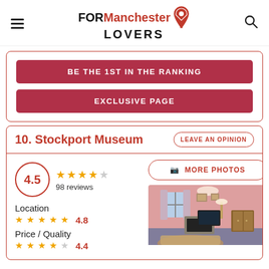FOR Manchester LOVERS
BE THE 1ST IN THE RANKING
EXCLUSIVE PAGE
10. Stockport Museum
LEAVE AN OPINION
4.5 — 98 reviews
Location 4.8
Price / Quality 4.4
[Figure (photo): Interior room photo of Stockport Museum showing a pink-walled room with furniture, fireplace, and wooden cabinet]